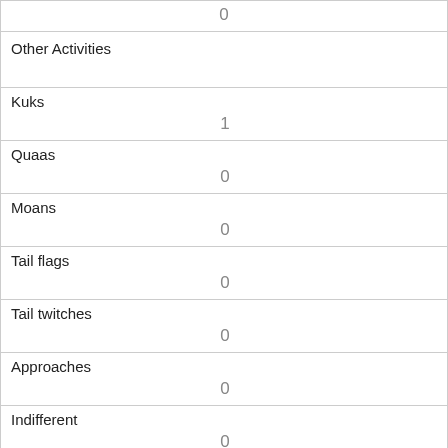|  | 0 |
| Other Activities |  |
| Kuks | 1 |
| Quaas | 0 |
| Moans | 0 |
| Tail flags | 0 |
| Tail twitches | 0 |
| Approaches | 0 |
| Indifferent | 0 |
| Runs from | 0 |
| Other Interactions | climbing tree |